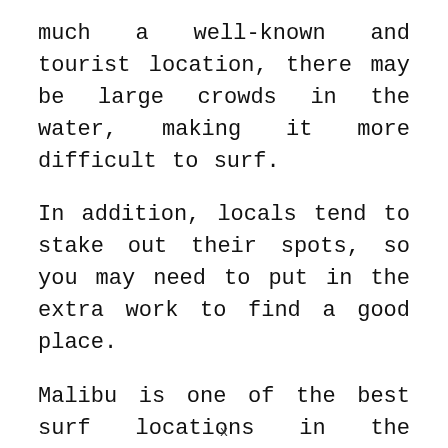much a well-known and tourist location, there may be large crowds in the water, making it more difficult to surf.
In addition, locals tend to stake out their spots, so you may need to put in the extra work to find a good place.
Malibu is one of the best surf locations in the United States for longboarders. Some of the best waves can be found in Malibu Lagoon State Beach (also known as Surfrider Beach), Topanga
x